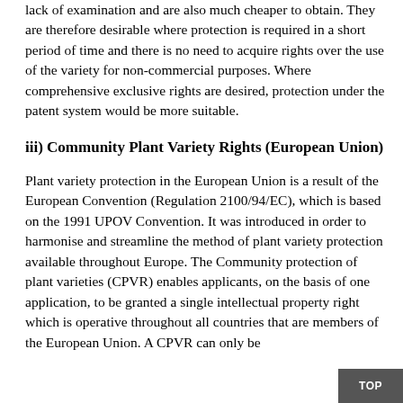lack of examination and are also much cheaper to obtain. They are therefore desirable where protection is required in a short period of time and there is no need to acquire rights over the use of the variety for non-commercial purposes. Where comprehensive exclusive rights are desired, protection under the patent system would be more suitable.
iii) Community Plant Variety Rights (European Union)
Plant variety protection in the European Union is a result of the European Convention (Regulation 2100/94/EC), which is based on the 1991 UPOV Convention. It was introduced in order to harmonise and streamline the method of plant variety protection available throughout Europe. The Community protection of plant varieties (CPVR) enables applicants, on the basis of one application, to be granted a single intellectual property right which is operative throughout all countries that are members of the European Union. A CPVR can only be